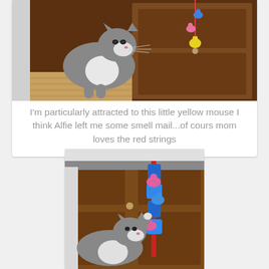[Figure (photo): A gray and white cat sniffing at colorful toy mice (yellow, pink, blue) hanging from a string in front of dark wooden cabinet doors.]
I'm particularly attracted to this little yellow mouse I think Alfie left me some smell mail...of cours mom loves the red strings
[Figure (photo): A gray and white cat reaching up with its paw toward a long colorful rope toy with colorful fabric mice (blue, pink) hanging against a wooden kitchen cabinet.]